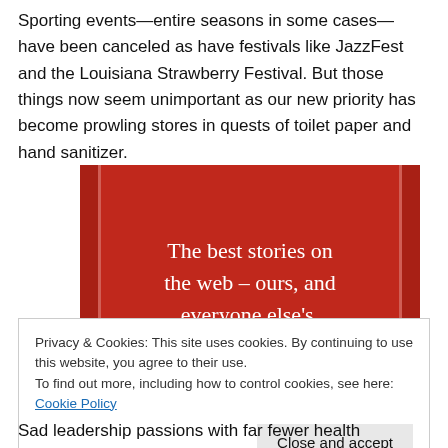Sporting events—entire seasons in some cases—have been canceled as have festivals like JazzFest and the Louisiana Strawberry Festival. But those things now seem unimportant as our new priority has become prowling stores in quests of toilet paper and hand sanitizer.
[Figure (infographic): Red advertisement banner reading 'The best stories on the web – ours, and everyone else's.' with a dark 'Start reading' button]
Privacy & Cookies: This site uses cookies. By continuing to use this website, you agree to their use.
To find out more, including how to control cookies, see here: Cookie Policy
Sad leadership passions with far fewer health...